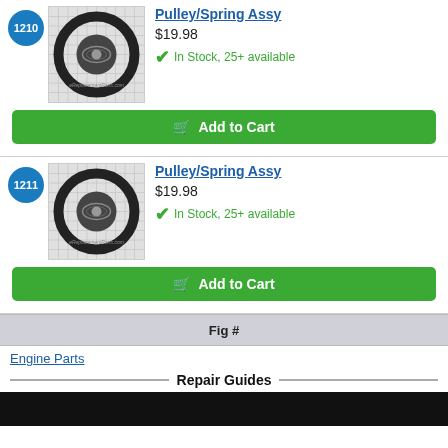[Figure (photo): Product image of Pulley/Spring Assy item 1210 with grid background]
Pulley/Spring Assy
$19.98
In Stock, 25+ available
Add to Cart
[Figure (photo): Product image of Pulley/Spring Assy item 1211 with grid background]
Pulley/Spring Assy
$19.98
In Stock, 25+ available
Add to Cart
Fig #
Engine Parts
Repair Guides